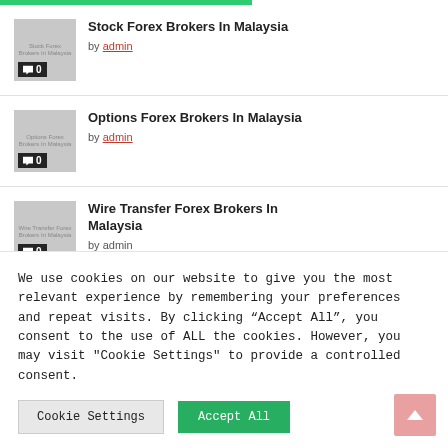Stock Forex Brokers In Malaysia by admin
Options Forex Brokers In Malaysia by admin
Wire Transfer Forex Brokers In Malaysia by admin
We use cookies on our website to give you the most relevant experience by remembering your preferences and repeat visits. By clicking “Accept All”, you consent to the use of ALL the cookies. However, you may visit "Cookie Settings" to provide a controlled consent.
Cookie Settings
Accept All